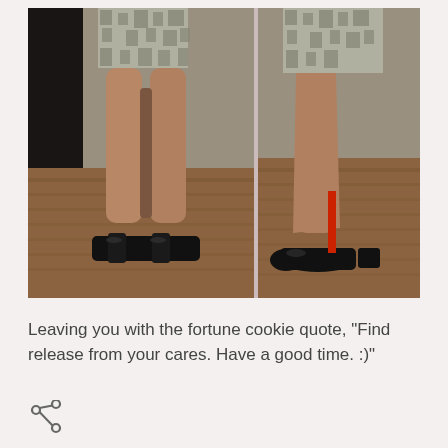[Figure (photo): Two side-by-side photos showing a person's legs from the knees down wearing a patterned skirt and black high heel shoes. Left photo is a front view, right photo is a side profile view. Wooden floor background visible.]
Leaving you with the fortune cookie quote, "Find release from your cares. Have a good time. :)"
[Figure (other): Share icon (less-than symbol style share button)]